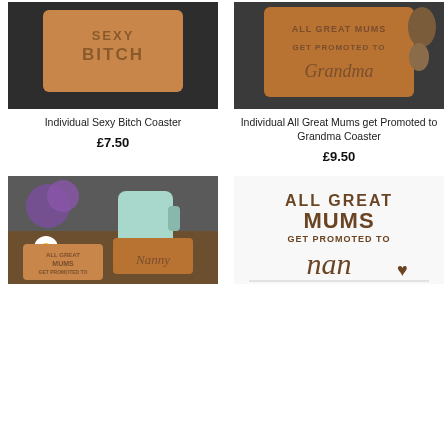[Figure (photo): Wooden 'Sexy Bitch' coaster on dark background]
Individual Sexy Bitch Coaster
£7.50
[Figure (photo): Wooden 'All Great Mums Get Promoted to Grandma' coaster on dark background with pine cones]
Individual All Great Mums get Promoted to Grandma Coaster
£9.50
[Figure (photo): Wooden 'All Great Mums Get Promoted to Granny' and 'Nanny' coasters with flowers and a teal mug]
[Figure (photo): Wooden 'All Great Mums Get Promoted to Nan' coaster design on white background]